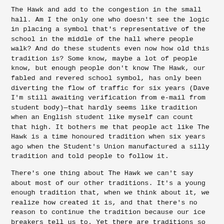The Hawk and add to the congestion in the small hall. Am I the only one who doesn't see the logic in placing a symbol that's representative of the school in the middle of the hall where people walk? And do these students even now how old this tradition is? Some know, maybe a lot of people know, but enough people don't know The Hawk, our fabled and revered school symbol, has only been diverting the flow of traffic for six years (Dave I'm still awaiting verification from e-mail from student body)—that hardly seems like tradition when an English student like myself can count that high. It bothers me that people act like The Hawk is a time honoured tradition when six years ago when the Student's Union manufactured a silly tradition and told people to follow it.
There's one thing about The Hawk we can't say about most of our other traditions. It's a young enough tradition that, when we think about it, we realize how created it is, and that there's no reason to continue the tradition because our ice breakers tell us to. Yet there are traditions so old we don't realize they were created at one point in time. Christmas, for me, comes to mind. I'm not religious so celebrating Christmas on those grounds makes little sense, nor do I think I should celebrate shopping, consumerism, and the fact that I'm privileged enough to be in a position to receive things I don't need when others are not, as a non-religious alternative.
I'd rather celebrate, of all things, Festivus. Frank Costanza's creation